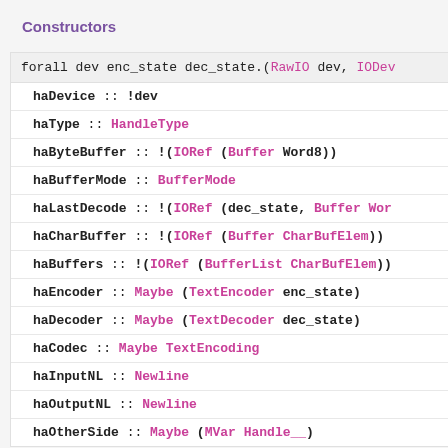Constructors
forall dev enc_state dec_state.(RawIO dev, IODev...
| Field | Type |
| --- | --- |
| haDevice :: !dev |  |
| haType :: HandleType |  |
| haByteBuffer :: !(IORef (Buffer Word8)) |  |
| haBufferMode :: BufferMode |  |
| haLastDecode :: !(IORef (dec_state, Buffer Wor... |  |
| haCharBuffer :: !(IORef (Buffer CharBufElem)) |  |
| haBuffers :: !(IORef (BufferList CharBufElem)) |  |
| haEncoder :: Maybe (TextEncoder enc_state) |  |
| haDecoder :: Maybe (TextDecoder dec_state) |  |
| haCodec :: Maybe TextEncoding |  |
| haInputNL :: Newline |  |
| haOutputNL :: Newline |  |
| haOtherSide :: Maybe (MVar Handle__) |  |